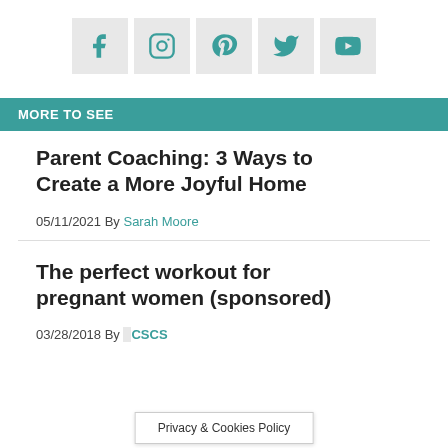[Figure (other): Row of five social media icons (Facebook, Instagram, Pinterest, Twitter, YouTube) on light grey square backgrounds]
MORE TO SEE
Parent Coaching: 3 Ways to Create a More Joyful Home
05/11/2021 By Sarah Moore
The perfect workout for pregnant women (sponsored)
03/28/2018 By ... MSPT CSCS
Privacy & Cookies Policy